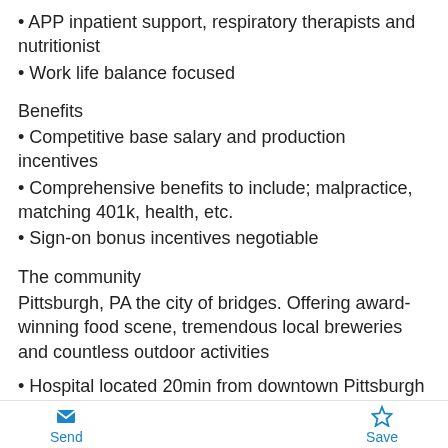• APP inpatient support, respiratory therapists and nutritionist
• Work life balance focused
Benefits
• Competitive base salary and production incentives
• Comprehensive benefits to include; malpractice, matching 401k, health, etc.
• Sign-on bonus incentives negotiable
The community
Pittsburgh, PA the city of bridges. Offering award-winning food scene, tremendous local breweries and countless outdoor activities
• Hospital located 20min from downtown Pittsburgh
• Top rated private and public school systems K-12
• Home to elite Universities – Carnegie Mellon
Send   Save